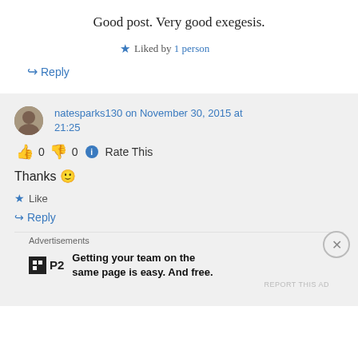Good post. Very good exegesis.
★ Liked by 1 person
↪ Reply
natesparks130 on November 30, 2015 at 21:25
👍 0 👎 0 ℹ Rate This
Thanks 🙂
★ Like
↪ Reply
Advertisements
Getting your team on the same page is easy. And free.